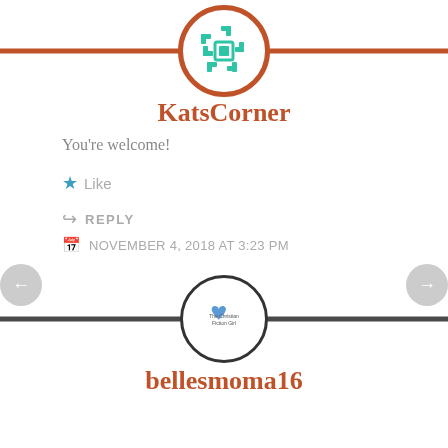[Figure (logo): KatsCorner blog logo — teal geometric puzzle piece pattern in a circle with rust/orange border, centered on a rust horizontal divider line]
KatsCorner
You’re welcome!
★ Like
↪ REPLY
NOVEMBER 4, 2018 AT 3:23 PM
[Figure (logo): The Christian Fiction Girl blog logo — small circular avatar with blue heart and text 'The Christian Fiction Girl', centered on a dark horizontal divider line]
bellesmoma16